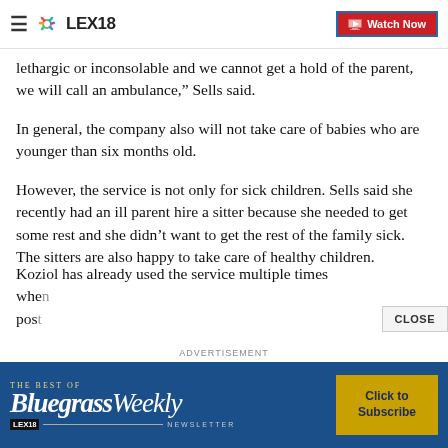LEX18 | Watch Now
lethargic or inconsolable and we cannot get a hold of the parent, we will call an ambulance,” Sells said.
In general, the company also will not take care of babies who are younger than six months old.
However, the service is not only for sick children. Sells said she recently had an ill parent hire a sitter because she needed to get some rest and she didn’t want to get the rest of the family sick. The sitters are also happy to take care of healthy children.
Koziol has already used the service multiple times whe… pos…
[Figure (screenshot): Advertisement banner for Bluegrass Weekly newsletter by LEX18 with a 'Click to Subscribe' button]